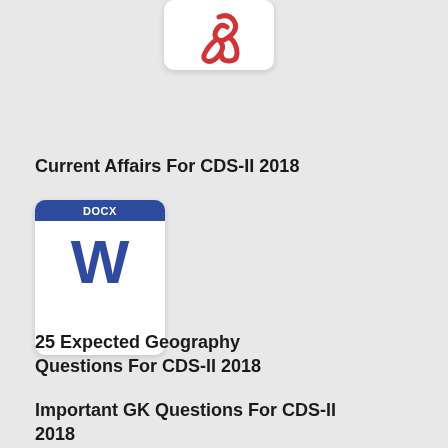[Figure (logo): Adobe PDF file icon - red Acrobat logo on white rounded rectangle card]
Current Affairs For CDS-II 2018
[Figure (logo): Microsoft Word DOCX file icon - blue header with DOCX label and large W on white rounded rectangle card]
25 Expected Geography Questions For CDS-II 2018
Important GK Questions For CDS-II 2018